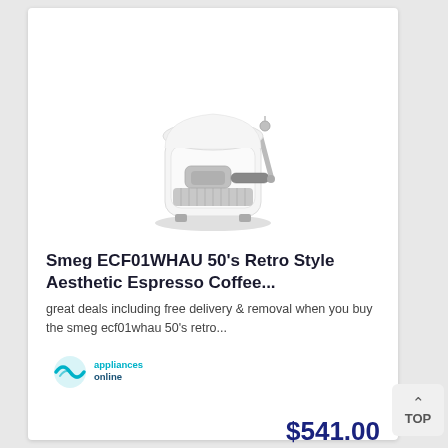[Figure (photo): White Smeg ECF01WHAU espresso coffee machine with chrome accents and steam wand, viewed from the front-right angle. The machine has a retro 50s design with the SMEG logo on top.]
Smeg ECF01WHAU 50's Retro Style Aesthetic Espresso Coffee...
great deals including free delivery & removal when you buy the smeg ecf01whau 50's retro...
[Figure (logo): Appliances Online logo — teal circular wave icon above the text 'appliancesonline' in teal/dark blue]
$541.00
SAVE $8.00
Buy Now